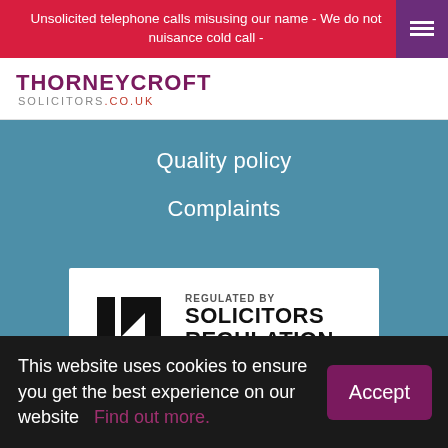Unsolicited telephone calls misusing our name - We do not nuisance cold call -
[Figure (logo): Thorneycroft Solicitors logo - THORNEYCROFT SOLICITORS.CO.UK in purple and grey]
Quality policy
Complaints
[Figure (logo): Regulated by Solicitors Regulation Authority badge with arrow logo]
This website uses cookies to ensure you get the best experience on our website   Find out more.